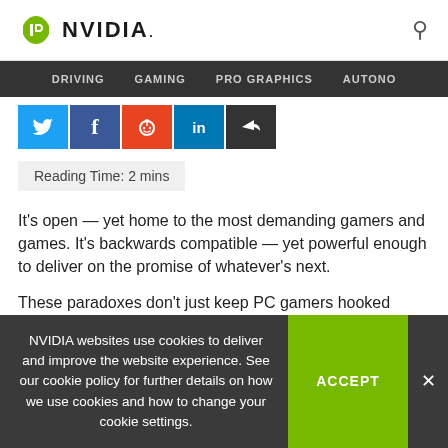NVIDIA. [search icon]
DRIVING  GAMING  PRO GRAPHICS  AUTONO
[Figure (screenshot): Social share buttons row: Twitter (blue), Facebook (dark blue), Reddit (orange), LinkedIn (blue), Share (dark grey)]
Reading Time: 2 mins
It’s open — yet home to the most demanding gamers and games. It’s backwards compatible — yet powerful enough to deliver on the promise of whatever’s next.

These paradoxes don’t just keep PC gamers hooked
NVIDIA websites use cookies to deliver and improve the website experience. See our cookie policy for further details on how we use cookies and how to change your cookie settings.
ACCEPT